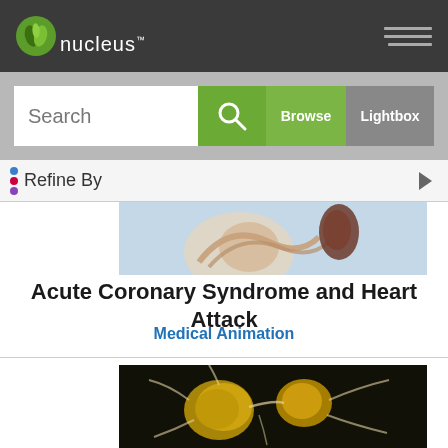[Figure (logo): Nucleus Medical Media logo with green N icon and white 'nucleus' text on dark header bar]
[Figure (screenshot): Search bar with Browse and Lightbox buttons on grey background]
Refine By
[Figure (photo): Medical illustration showing coronary artery or heart anatomy, partial view]
Acute Coronary Syndrome and Heart Attack
Medical Animation
[Figure (photo): Medical illustration showing neurons with golden-yellow cell bodies and white branching connections on dark background]